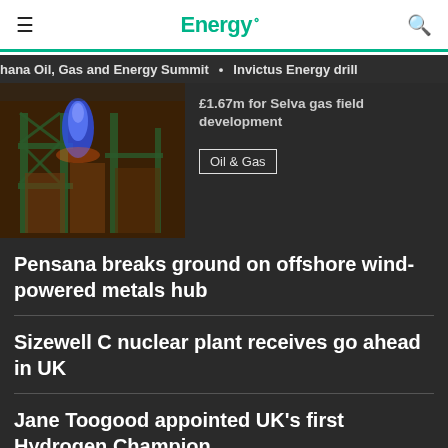Energy.
Ghana Oil, Gas and Energy Summit  •  Invictus Energy drill
[Figure (photo): Industrial gas flare or burner at night with blue flame, green metal scaffolding structure, dark background]
£1.67m for Selva gas field development
Oil & Gas
Pensana breaks ground on offshore wind-powered metals hub
Sizewell C nuclear plant receives go ahead in UK
Jane Toogood appointed UK's first Hydrogen Champion